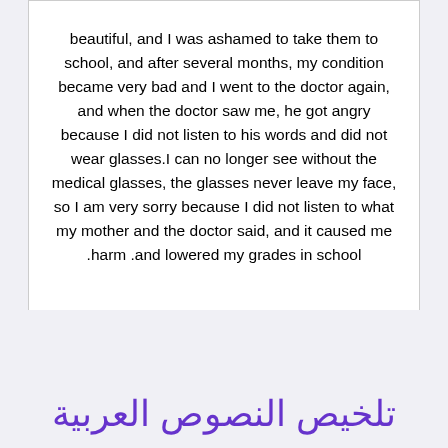beautiful, and I was ashamed to take them to school, and after several months, my condition became very bad and I went to the doctor again, and when the doctor saw me, he got angry because I did not listen to his words and did not wear glasses.I can no longer see without the medical glasses, the glasses never leave my face, so I am very sorry because I did not listen to what my mother and the doctor said, and it caused me .harm .and lowered my grades in school
تلخيص النصوص العربية